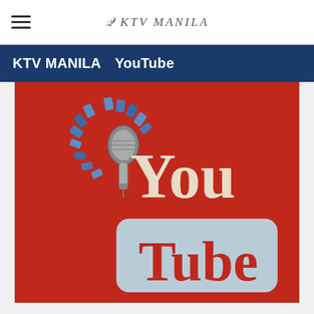KTV MANILA
KTV MANILA　YouTube
[Figure (logo): KTV Manila YouTube promotional image: red background with KTV Manila microphone logo in top left (circular arrangement of colored tiles around a microphone) and YouTube logo (You in cream text above a light blue rounded rectangle with 'Tube' in red text)]